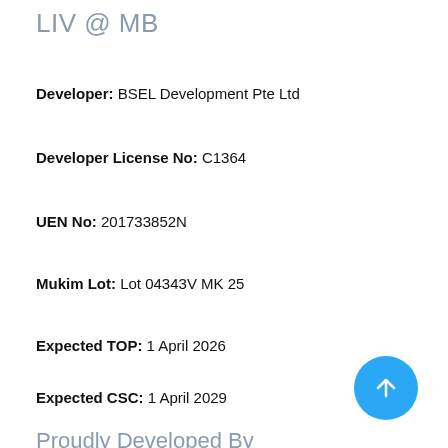LIV @ MB
Developer: BSEL Development Pte Ltd
Developer License No: C1364
UEN No: 201733852N
Mukim Lot: Lot 04343V MK 25
Expected TOP: 1 April 2026
Expected CSC: 1 April 2029
Proudly Developed By
[Figure (illustration): Blue circular scroll-to-top button with upward arrow icon in bottom right corner]